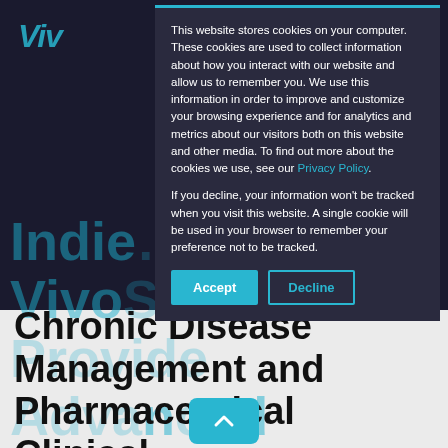VIV
This website stores cookies on your computer. These cookies are used to collect information about how you interact with our website and allow us to remember you. We use this information in order to improve and customize your browsing experience and for analytics and metrics about our visitors both on this website and other media. To find out more about the cookies we use, see our Privacy Policy.
If you decline, your information won't be tracked when you visit this website. A single cookie will be used in your browser to remember your preference not to be tracked.
Indications with VivoSense to Provide Advanced Insights in Chronic Disease Management and Pharmaceutical Clinical Trials